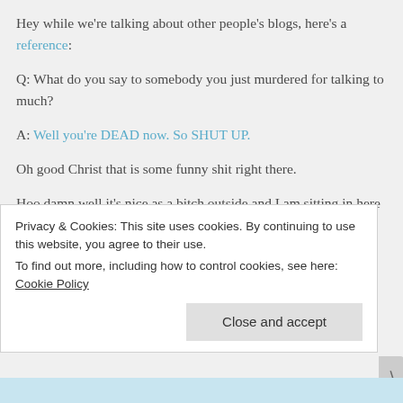Hey while we're talking about other people's blogs, here's a reference:
Q: What do you say to somebody you just murdered for talking to much?
A: Well you're DEAD now. So SHUT UP.
Oh good Christ that is some funny shit right there.
Hoo damn well it's nice as a bitch outside and I am sitting in here like a mad man. I was rereading Kurt
Privacy & Cookies: This site uses cookies. By continuing to use this website, you agree to their use.
To find out more, including how to control cookies, see here: Cookie Policy
Close and accept